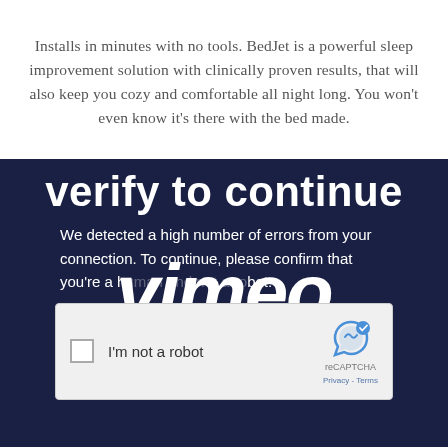Installs in minutes with no tools. BedJet is a powerful sleep improvement solution with clinically proven results, that will also keep you cozy and comfortable all night long. You won't even know it's there with the bed made.
[Figure (screenshot): Vimeo 'Verify to continue' CAPTCHA screen on dark navy background. Shows partial 'verify to continue' heading, error message text overlaid with large 'vimeo' italic logo watermark, and a reCAPTCHA 'I'm not a robot' checkbox widget.]